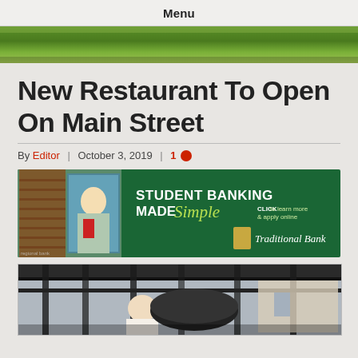Menu
[Figure (photo): Green grass/landscape header image strip]
New Restaurant To Open On Main Street
By Editor | October 3, 2019 | 1 [comment]
[Figure (photo): Traditional Bank advertisement: Student Banking Made Simple. Click to learn more & apply online. Traditional Bank logo. Photo of a smiling student.]
[Figure (photo): Photo of a person working near what appears to be outdoor restaurant equipment or grills]